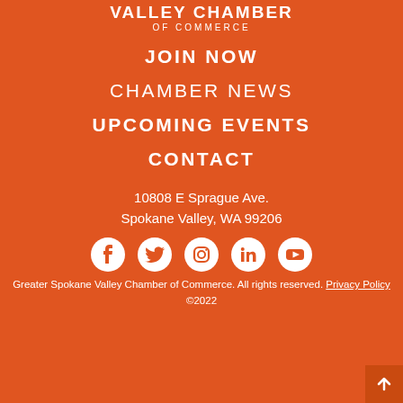[Figure (logo): Valley Chamber of Commerce logo text: VALLEY CHAMBER / OF COMMERCE in white bold letters]
JOIN NOW
CHAMBER NEWS
UPCOMING EVENTS
CONTACT
10808 E Sprague Ave.
Spokane Valley, WA 99206
[Figure (illustration): Social media icons row: Facebook, Twitter, Instagram, LinkedIn, YouTube — all white on orange background]
Greater Spokane Valley Chamber of Commerce. All rights reserved. Privacy Policy ©2022